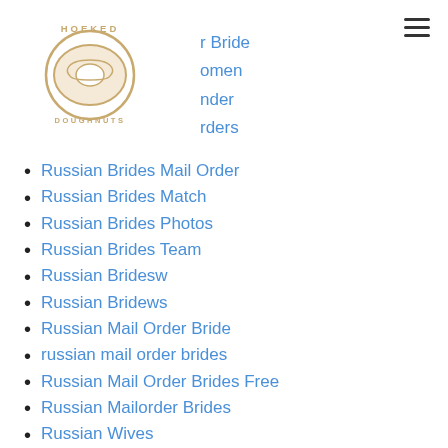[Figure (logo): Hoeked Doughnuts logo — circular donut illustration with 'HOEKED' text above and 'DOUGHNUTS' text below, golden/tan color]
Russian Mail Order Bride
Russian Mail Order Women
Russian Mail Order
Russian Mail Orders
Russian Brides Mail Order
Russian Brides Match
Russian Brides Photos
Russian Brides Team
Russian Bridesw
Russian Bridews
Russian Mail Order Bride
russian mail order brides
Russian Mail Order Brides Free
Russian Mailorder Brides
Russian Wives
Russianbrides
Russianbrides.Com